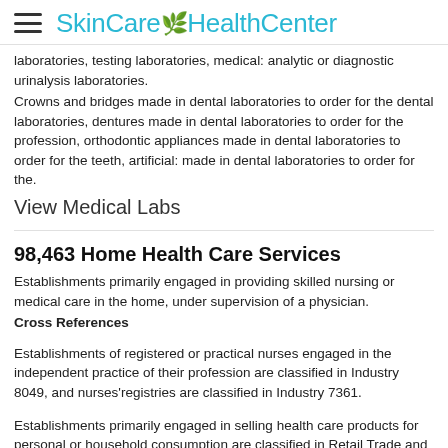SkinCare HealthCenter
laboratories, testing laboratories, medical: analytic or diagnostic urinalysis laboratories.
Crowns and bridges made in dental laboratories to order for the dental laboratories, dentures made in dental laboratories to order for the profession, orthodontic appliances made in dental laboratories to order for the teeth, artificial: made in dental laboratories to order for the.
View Medical Labs
98,463 Home Health Care Services
Establishments primarily engaged in providing skilled nursing or medical care in the home, under supervision of a physician.
Cross References
Establishments of registered or practical nurses engaged in the independent practice of their profession are classified in Industry 8049, and nurses'registries are classified in Industry 7361.
Establishments primarily engaged in selling health care products for personal or household consumption are classified in Retail Trade and those engaged in renting or leasing products for health care are classified in Industry 7359.